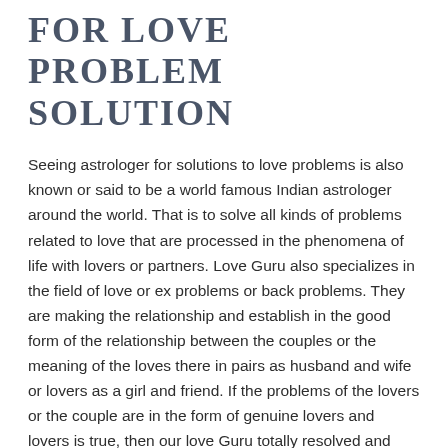FOR LOVE PROBLEM SOLUTION
Seeing astrologer for solutions to love problems is also known or said to be a world famous Indian astrologer around the world. That is to solve all kinds of problems related to love that are processed in the phenomena of life with lovers or partners. Love Guru also specializes in the field of love or ex problems or back problems. They are making the relationship and establish in the good form of the relationship between the couples or the meaning of the loves there in pairs as husband and wife or lovers as a girl and friend. If the problems of the lovers or the couple are in the form of genuine lovers and lovers is true, then our love Guru totally resolved and with fully guaranteed form or short or short time. The mantra, tantra and also using the